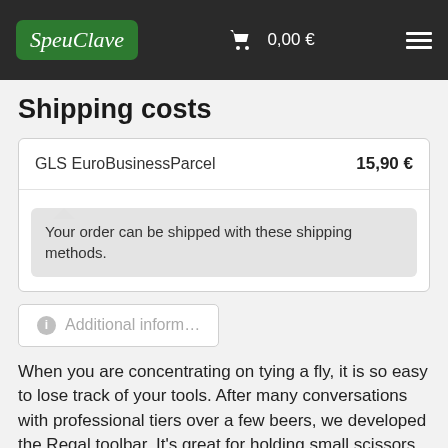SpecClave  0,00 €
Shipping costs
| Shipping Method | Price |
| --- | --- |
| GLS EuroBusinessParcel | 15,90 € |
Your order can be shipped with these shipping methods.
Additional inform...
When you are concentrating on tying a fly, it is so easy to lose track of your tools. After many conversations with professional tiers over a few beers, we developed the Regal toolbar. It's great for holding small scissors and